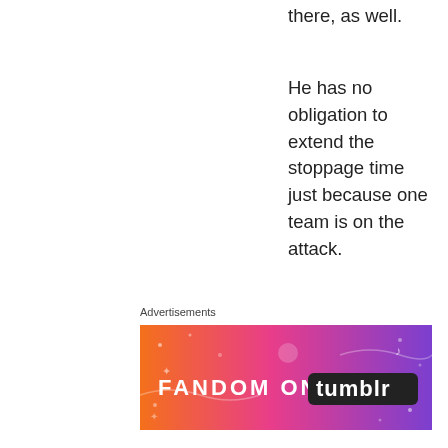there, as well.
He has no obligation to extend the stoppage time just because one team is on the attack.
★ Like
Reply
EDWIN
Advertisements
[Figure (illustration): Fandom on Tumblr advertisement banner with colorful orange-to-purple gradient background and bold text reading FANDOM ON tumblr with decorative icons]